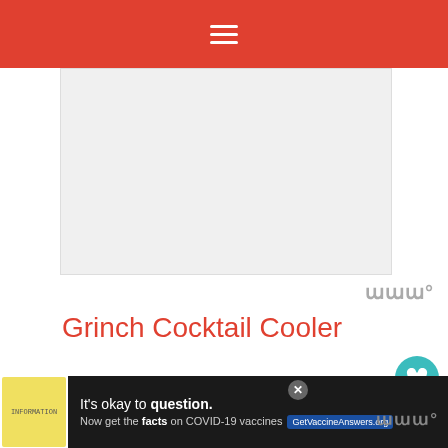≡
[Figure (other): Advertisement placeholder banner image]
Grinch Cocktail Cooler
Recommended
[Figure (photo): Cupcakes with green frosting and red heart decorations on top (The Grinch Peppermint Cheesecake Cups)]
The Grinch Peppermint Cheesecake Cups
[Figure (photo): WHAT'S NEXT — The Grinch Vanilla Cake... thumbnail]
WHAT'S NEXT → The Grinch Vanilla Cake...
[Figure (infographic): Advertisement: It's okay to question. Now get the facts on COVID-19 vaccines. GetVaccineAnswers.org]